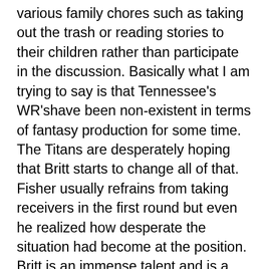various family chores such as taking out the trash or reading stories to their children rather than participate in the discussion. Basically what I am trying to say is that Tennessee's WR'shave been non-existent in terms of fantasy production for some time. The Titans are desperately hoping that Britt starts to change all of that. Fisher usually refrains from taking receivers in the first round but even he realized how desperate the situation had become at the position. Britt is an immense talent and is a nice choice in keeper and dynasty leagues however, he will more than likely go undrafted in most traditional formats. Keep an eye on him but keep expectations to a minimum. In terms of the other Titan receivers it is quite simple: Justin Gage may be worth a late round flier but no